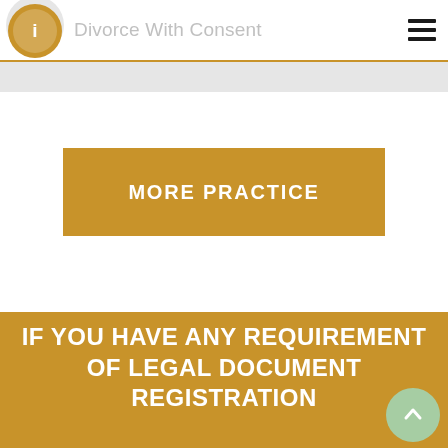Divorce With Consent
MORE PRACTICE
IF YOU HAVE ANY REQUIREMENT OF LEGAL DOCUMENT REGISTRATION